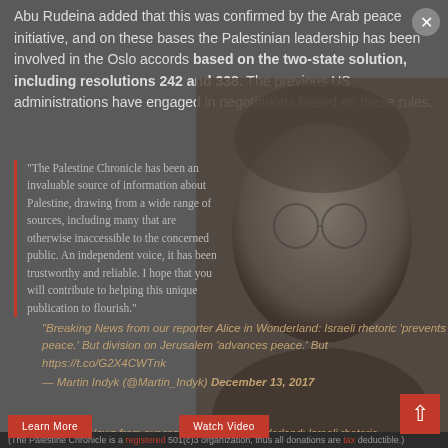Abu Rudeina added that this was confirmed by the Arab peace initiative, and on these bases the Palestinian leadership has been involved in the Oslo accords based on the two-state solution, including resolutions 242 and 338. The previous US administrations have engaged in negotiations based on these rules.
[Figure (photo): Black and white portrait photo of an elderly man wearing glasses, partially transparent overlay on text]
"The Palestine Chronicle has been an invaluable source of information about Palestine, drawing from a wide range of sources, including many that are otherwise inaccessible to the concerned public. An independent voice, it has been trustworthy and reliable. I hope that you will contribute to helping this unique publication to flourish."
Breaking News from our reporter Alice in Wonderland: Israeli rhetoric 'prevents peace.' But division on Jerusalem 'advances peace.' But https://t.co/G2X4CWTnk
— Martin Indyk (@Martin_Indyk) December 13, 2017
NOAM CHOMSKY
He said that the obstacle to the peace process is the continued Israeli occupation and settlement activity, which was criticized by all US administrations, including the administration of US President Donald Trump.
(The Palestine Chronicle is a registered 501(c)3 organization, thus all donations are tax deductible.)